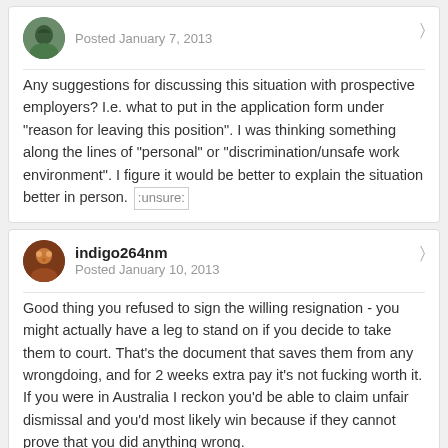Posted January 7, 2013
Any suggestions for discussing this situation with prospective employers? I.e. what to put in the application form under "reason for leaving this position". I was thinking something along the lines of "personal" or "discrimination/unsafe work environment". I figure it would be better to explain the situation better in person. :unsure:
indigo264nm
Posted January 10, 2013
Good thing you refused to sign the willing resignation - you might actually have a leg to stand on if you decide to take them to court. That's the document that saves them from any wrongdoing, and for 2 weeks extra pay it's not fucking worth it. If you were in Australia I reckon you'd be able to claim unfair dismissal and you'd most likely win because if they cannot prove that you did anything wrong.
I have no idea about unfair dismissal laws in the US but I know a couple of cases where people have been accused without proof and gotten compensation.